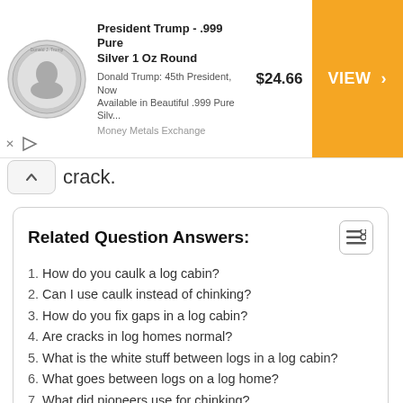[Figure (screenshot): Advertisement banner for President Trump .999 Pure Silver 1 Oz Round coin. Shows coin image on left, product title, description 'Donald Trump: 45th President, Now Available in Beautiful .999 Pure Silv...', source 'Money Metals Exchange', price '$24.66', and orange VIEW button on right.]
crack.
Related Question Answers:
1. How do you caulk a log cabin?
2. Can I use caulk instead of chinking?
3. How do you fix gaps in a log cabin?
4. Are cracks in log homes normal?
5. What is the white stuff between logs in a log cabin?
6. What goes between logs on a log home?
7. What did pioneers use for chinking?
8. What can I use for chinking?